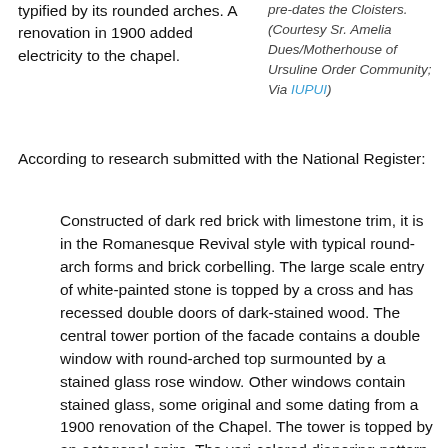typified by its rounded arches. A renovation in 1900 added electricity to the chapel.
pre-dates the Cloisters. (Courtesy Sr. Amelia Dues/Motherhouse of Ursuline Order Community; Via IUPUI)
According to research submitted with the National Register:
Constructed of dark red brick with limestone trim, it is in the Romanesque Revival style with typical round-arch forms and brick corbelling. The large scale entry of white-painted stone is topped by a cross and has recessed double doors of dark-stained wood. The central tower portion of the facade contains a double window with round-arched top surmounted by a stained glass rose window. Other windows contain stained glass, some original and some dating from a 1900 renovation of the Chapel. The tower is topped by an octagonal spire. The vari-colored diapering pattern of the roof is still visible.